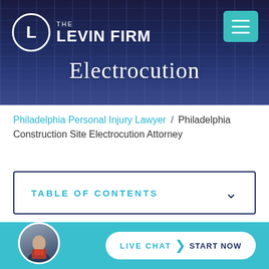[Figure (screenshot): The Levin Firm law firm website header with logo, hamburger menu button, city skyline background, and Electrocution hero title]
THE LEVIN FIRM
Electrocution
Philadelphia Personal Injury Lawyer / Philadelphia Construction Site Electrocution Attorney
TABLE OF CONTENTS
LIVE CHAT  START NOW